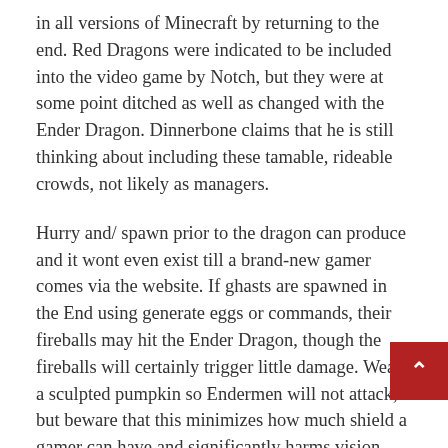in all versions of Minecraft by returning to the end. Red Dragons were indicated to be included into the video game by Notch, but they were at some point ditched as well as changed with the Ender Dragon. Dinnerbone claims that he is still thinking about including these tamable, rideable crowds, not likely as managers.
Hurry and/ spawn prior to the dragon can produce and it wont even exist till a brand-new gamer comes via the website. If ghasts are spawned in the End using generate eggs or commands, their fireballs may hit the Ender Dragon, though the fireballs will certainly trigger little damage. Wear a sculpted pumpkin so Endermen will not attack, but beware that this minimizes how much shield a gamer can have and significantly harms vision. Read more about place end crystal here. Focus on the Endermen as well as Ender Dragon. The Endermen are equally as most likely to kill a player as the Ender Dragon if a pumpkin isn't being put on. If timing motions as